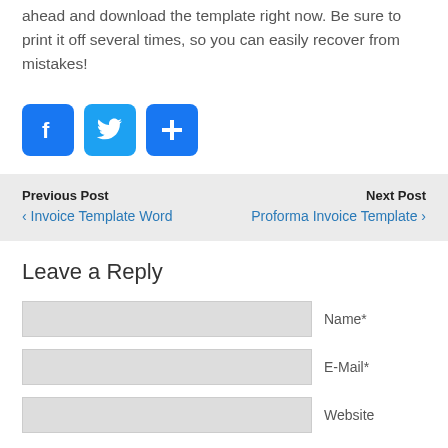ahead and download the template right now. Be sure to print it off several times, so you can easily recover from mistakes!
[Figure (other): Social sharing buttons: Facebook (f), Twitter (bird), and Add (+) buttons in blue rounded squares]
Previous Post
‹ Invoice Template Word
Next Post
Proforma Invoice Template ›
Leave a Reply
Name*
E-Mail*
Website